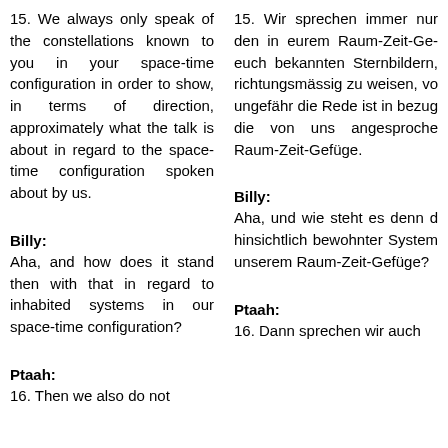15. We always only speak of the constellations known to you in your space-time configuration in order to show, in terms of direction, approximately what the talk is about in regard to the space-time configuration spoken about by us.
15. Wir sprechen immer nur den in eurem Raum-Zeit-Ge euch bekannten Sternbildern, richtungsmässig zu weisen, vo ungefähr die Rede ist in bezug die von uns angesproche Raum-Zeit-Gefüge.
Billy:
Billy:
Aha, and how does it stand then with that in regard to inhabited systems in our space-time configuration?
Aha, und wie steht es denn d hinsichtlich bewohnter System unserem Raum-Zeit-Gefüge?
Ptaah:
Ptaah:
16. Then we also do not
16. Dann sprechen wir auch